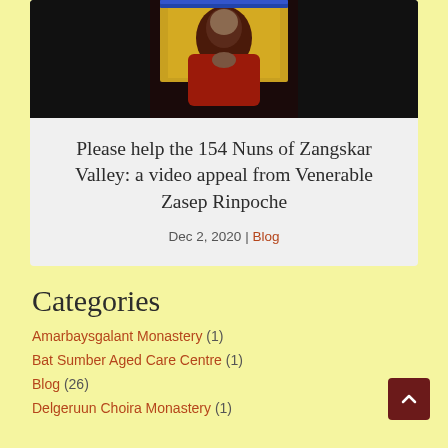[Figure (photo): Photo of a Tibetan Buddhist monk in red robes with hands clasped in prayer, against a colorful background]
Please help the 154 Nuns of Zangskar Valley: a video appeal from Venerable Zasep Rinpoche
Dec 2, 2020 | Blog
Categories
Amarbaysgalant Monastery (1)
Bat Sumber Aged Care Centre (1)
Blog (26)
Delgeruun Choira Monastery (1)